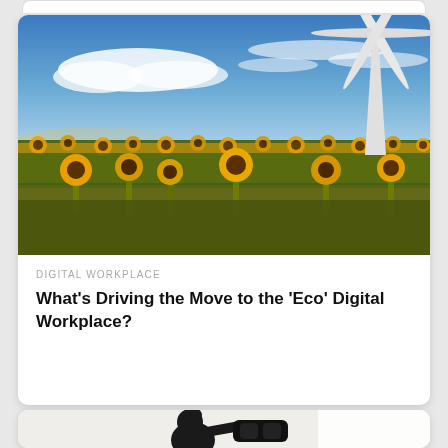[Figure (photo): A sunflower field under a blue sky with wispy clouds and a wind turbine in the background on the right side.]
DIGITAL WORKPLACE
What's Driving the Move to the 'Eco' Digital Workplace?
[Figure (photo): Silhouette of a person looking through binoculars against a bright background.]